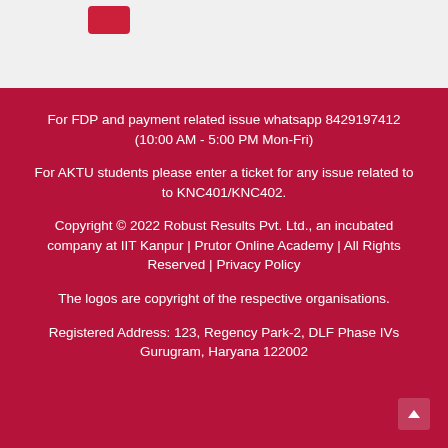[Figure (other): Red button/logo element in top grey section]
For FDP and payment related issue whatsapp 8429197412 (10:00 AM - 5:00 PM Mon-Fri)
For AKTU students please enter a ticket for any issue related to to KNC401/KNC402.
Copyright © 2022 Robust Results Pvt. Ltd., an incubated company at IIT Kanpur | Prutor Online Academy | All Rights Reserved | Privacy Policy
The logos are copyright of the respective organisations.
Registered Address: 123, Regency Park-2, DLF Phase IVs Gurugram, Haryana 122002